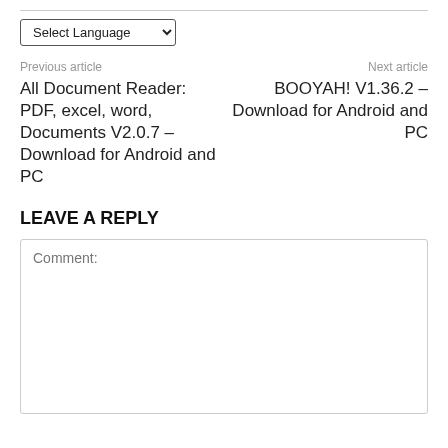Select Language
Previous article
Next article
All Document Reader: PDF, excel, word, Documents V2.0.7 – Download for Android and PC
BOOYAH! V1.36.2 – Download for Android and PC
LEAVE A REPLY
Comment: